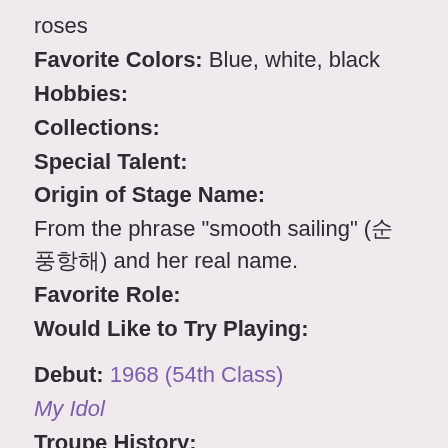roses
Favorite Colors: Blue, white, black
Hobbies:
Collections:
Special Talent:
Origin of Stage Name:
From the phrase "smooth sailing" (순풍) and her real name.
Favorite Role:
Would Like to Try Playing:
Debut: 1968 (54th Class)
My Idol
Troupe History:
1980 - 1983 Flower Troupe
1976 - 1980 Moon Troupe